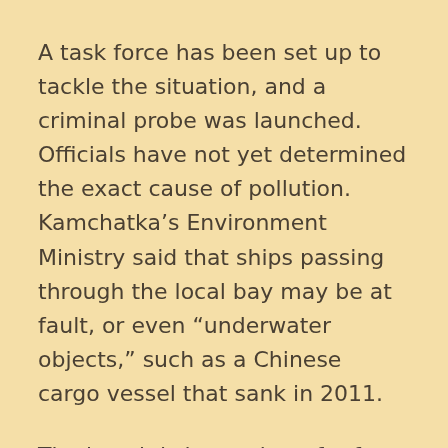A task force has been set up to tackle the situation, and a criminal probe was launched. Officials have not yet determined the exact cause of pollution. Kamchatka’s Environment Ministry said that ships passing through the local bay may be at fault, or even “underwater objects,” such as a Chinese cargo vessel that sank in 2011.
The beach is located not far from the Radygino military training ground, and occasionally gets partially closed down due to naval drills taking place in the area. However, Russia’s Pacific Fleet denied any ties with the disaster. A spokesperson said that “starting from June, there were no exercises using heavy equipment” on Radygino.